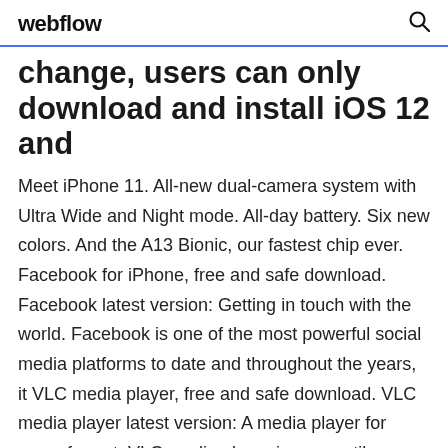webflow
change, users can only download and install iOS 12 and
Meet iPhone 11. All-new dual-camera system with Ultra Wide and Night mode. All-day battery. Six new colors. And the A13 Bionic, our fastest chip ever. Facebook for iPhone, free and safe download. Facebook latest version: Getting in touch with the world. Facebook is one of the most powerful social media platforms to date and throughout the years, it VLC media player, free and safe download. VLC media player latest version: A media player for every format. VLC media player is a versatile, robust software that plays almost every type of video, and more. Download Microsoft E...